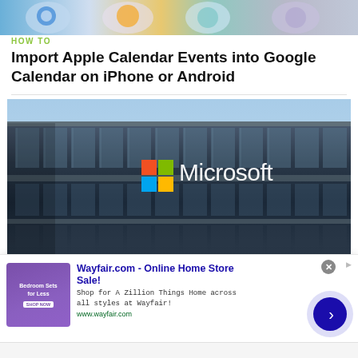[Figure (photo): Partial view of colorful app icons on a device screen, cropped at top]
HOW TO
Import Apple Calendar Events into Google Calendar on iPhone or Android
[Figure (photo): Microsoft office building exterior with Microsoft logo (four colored squares: orange, green, blue, yellow) and white Microsoft wordmark on the facade, against a blue sky]
HOW TO
[Figure (screenshot): Wayfair advertisement banner: 'Wayfair.com - Online Home Store Sale!' with purple bedroom furniture thumbnail, text 'Shop for A Zillion Things Home across all styles at Wayfair!', URL www.wayfair.com, and a blue arrow button in a lavender circle]